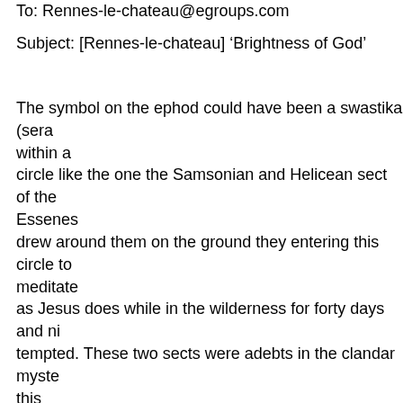To: Rennes-le-chateau@egroups.com
Subject: [Rennes-le-chateau] ‘Brightness of God’
The symbol on the ephod could have been a swastika (sera within a circle like the one the Samsonian and Helicean sect of the Essenes drew around them on the ground they entering this circle to meditate as Jesus does while in the wilderness for forty days and nig tempted. These two sects were adebts in the clandar myste this ENCOMPASSING circle representative of Asherah, the mo the five seasons of 28 days, turned into the Sun with the 4 sevens t make up the arms of the swastika, more then likey a divine Star-s